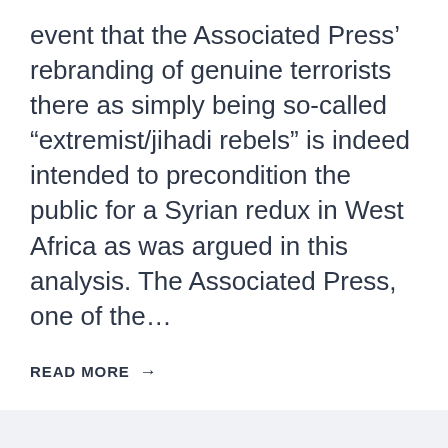event that the Associated Press' rebranding of genuine terrorists there as simply being so-called “extremist/jihadi rebels” is indeed intended to precondition the public for a Syrian redux in West Africa as was argued in this analysis. The Associated Press, one of the…
READ MORE →
Translate »